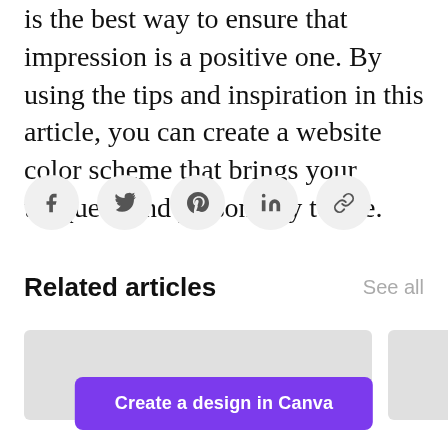is the best way to ensure that impression is a positive one. By using the tips and inspiration in this article, you can create a website color scheme that brings your unique brand personality to life.
[Figure (other): Row of five social sharing icon buttons (Facebook, Twitter, Pinterest, LinkedIn, Link/copy) each in a light gray circle]
Related articles
See all
[Figure (other): Two article card thumbnails side by side, both light gray placeholder rectangles]
Create a design in Canva